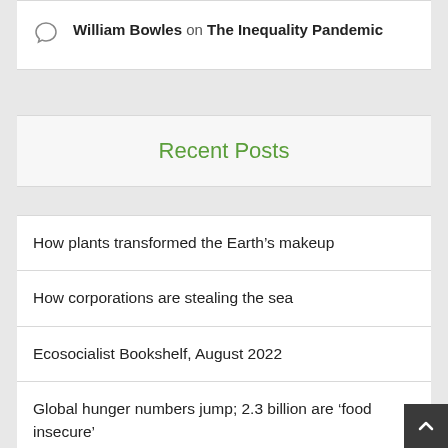William Bowles on The Inequality Pandemic
Recent Posts
How plants transformed the Earth’s makeup
How corporations are stealing the sea
Ecosocialist Bookshelf, August 2022
Global hunger numbers jump; 2.3 billion are ‘food insecure’
U.S. has the warmest nights ever